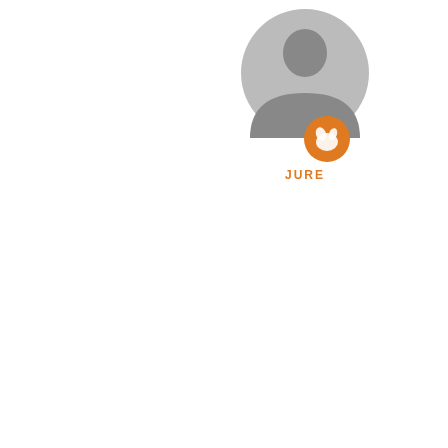[Figure (illustration): Gray circular avatar/silhouette of a person with an orange circular badge icon (dog/animal logo) overlaid at bottom-right of avatar. Below is the name label 'JURE' in orange bold text.]
OCT 28 20
Hello Bar
I check .ja the "az" c
fi
{
}
If I build N transfer i
I tried dif obfscucat
Is it posib mentione until I cha
Regards,